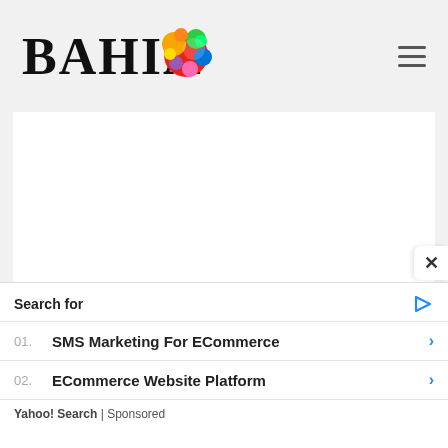[Figure (logo): BAHIA logo with cursive/script text and colorful splattered paint circle on right side]
[Figure (other): White content area placeholder for product gallery image]
These product galleries layout great on mobile devices too and adapt in a stacked format.
Search for
01. SMS Marketing For ECommerce
02. ECommerce Website Platform
Yahoo! Search | Sponsored